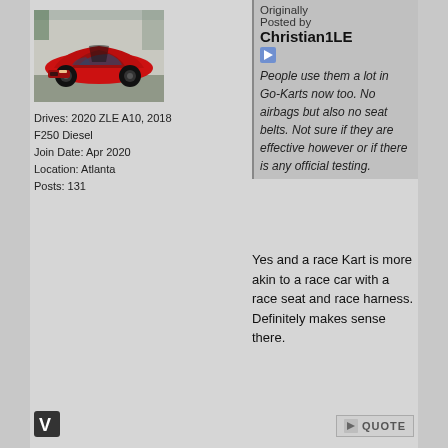[Figure (photo): Red Chevrolet Camaro ZLE parked in a lot, front three-quarter view]
Drives: 2020 ZLE A10, 2018 F250 Diesel
Join Date: Apr 2020
Location: Atlanta
Posts: 131
Originally Posted by Christian1LE
People use them a lot in Go-Karts now too. No airbags but also no seat belts. Not sure if they are effective however or if there is any official testing.
Yes and a race Kart is more akin to a race car with a race seat and race harness. Definitely makes sense there.